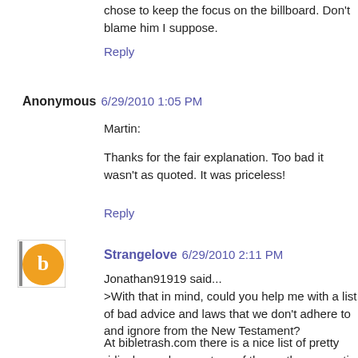chose to keep the focus on the billboard. Don't blame him I suppose.
Reply
Anonymous 6/29/2010 1:05 PM
Martin:
Thanks for the fair explanation. Too bad it wasn't as quoted. It was priceless!
Reply
Strangelove 6/29/2010 2:11 PM
Jonathan91919 said...
>With that in mind, could you help me with a list of bad advice and laws that we don't adhere to and ignore from the New Testament?
At bibletrash.com there is a nice list of pretty ridiculous rules courtesy of the parthenogenetic carpenter, just follow